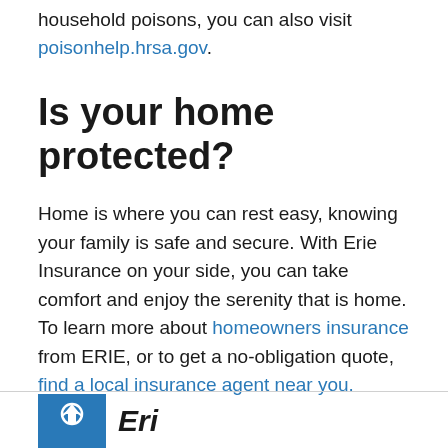household poisons, you can also visit poisonhelp.hrsa.gov.
Is your home protected?
Home is where you can rest easy, knowing your family is safe and secure. With Erie Insurance on your side, you can take comfort and enjoy the serenity that is home. To learn more about homeowners insurance from ERIE, or to get a no-obligation quote, find a local insurance agent near you.
[Figure (logo): Erie Insurance logo — blue square with stylized house/shield icon, followed by italic 'Erie' wordmark in dark text]